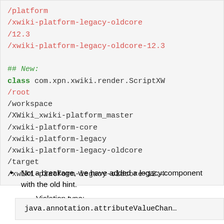/platform
/xwiki-platform-legacy-oldcore
/12.3
/xwiki-platform-legacy-oldcore-12.3

## New:
class com.xpn.xwiki.render.ScriptXW...
/root
/workspace
/XWiki_xwiki-platform_master
/xwiki-platform-core
/xwiki-platform-legacy
/xwiki-platform-legacy-oldcore
/target
/xwiki-platform-legacy-oldcore-12.4...
Not a breakage, we have added a legacy component with the old hint.
Violation type:
java.annotation.attributeValueChan...